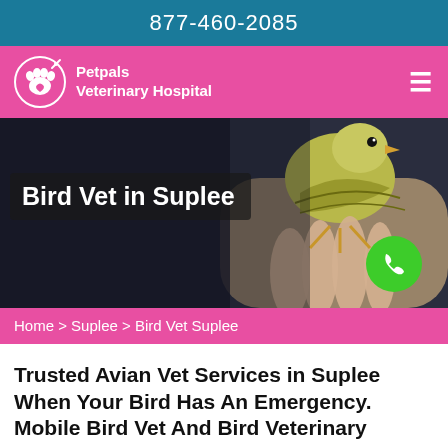877-460-2085
[Figure (logo): Petpals Veterinary Hospital logo with paw print icon in white on pink background]
[Figure (photo): Small yellow-green bird (finch) being held in a human hand, with 'Bird Vet in Suplee' title overlay and a green phone call button]
Home > Suplee > Bird Vet Suplee
Trusted Avian Vet Services in Suplee When Your Bird Has An Emergency. Mobile Bird Vet And Bird Veterinary